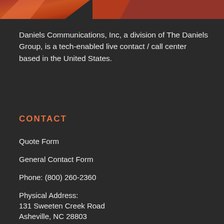[Figure (photo): Orange and red abstract/logo image banner at top of page]
Daniels Communications, Inc, a division of The Daniels Group, is a tech-enabled live contact / call center based in the United States.
CONTACT
Quote Form
General Contact Form
Phone: (800) 260-2360
Physical Address:
131 Sweeten Creek Road
Asheville, NC 28803